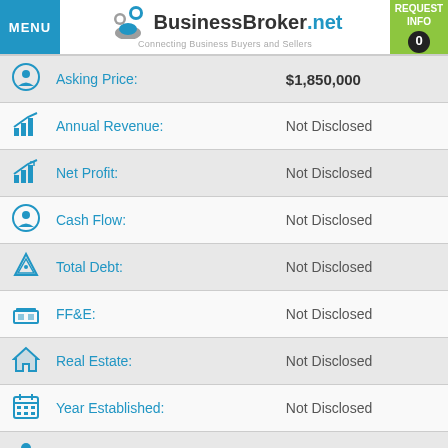MENU | BusinessBroker.net — Connecting Business Buyers and Sellers | REQUEST INFO 0
| Icon | Field | Value |
| --- | --- | --- |
|  | Asking Price: | $1,850,000 |
|  | Annual Revenue: | Not Disclosed |
|  | Net Profit: | Not Disclosed |
|  | Cash Flow: | Not Disclosed |
|  | Total Debt: | Not Disclosed |
|  | FF&E: | Not Disclosed |
|  | Real Estate: | Not Disclosed |
|  | Year Established: | Not Disclosed |
|  | Employees: | Not Disclosed |
|  | BBN Listing #: | 365225126 |
|  | Broker Reference #: | SSFS14 |
Email or Print Listing